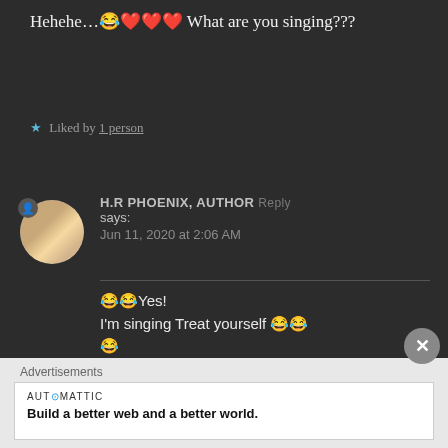Hehehe…😂❤️❤️❤️ What are you singing???
★ Liked by 1 person
H.R PHOENIX, AUTHOR Reply says: Jun 11, 2020 at 2:06 AM
😂😂Yes!
I'm singing Treat yourself 😂😂😂
Advertisements
AUTOMATTIC
Build a better web and a better world.